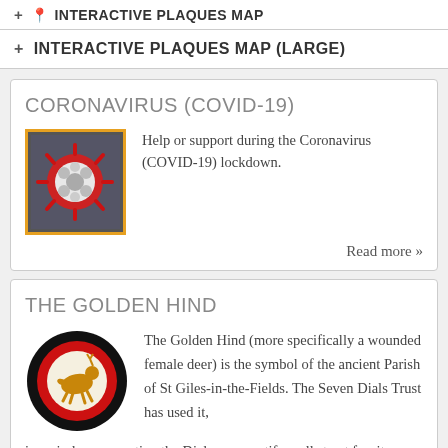+ 📍 INTERACTIVE PLAQUES MAP
+ INTERACTIVE PLAQUES MAP (LARGE)
CORONAVIRUS (COVID-19)
[Figure (photo): Close-up photograph of a coronavirus particle model with red spikes on a grey background, framed with an orange border]
Help or support during the Coronavirus (COVID-19) lockdown.
Read more »
THE GOLDEN HIND
[Figure (illustration): Circular logo with black outer ring, red inner ring, cream center showing a golden hind (deer) running, representing the symbol of the ancient Parish of St Giles-in-the-Fields]
The Golden Hind (more specifically a wounded female deer) is the symbol of the ancient Parish of St Giles-in-the-Fields. The Seven Dials Trust has used it, in a circle representing the Dials, as a motif on all street furniture.